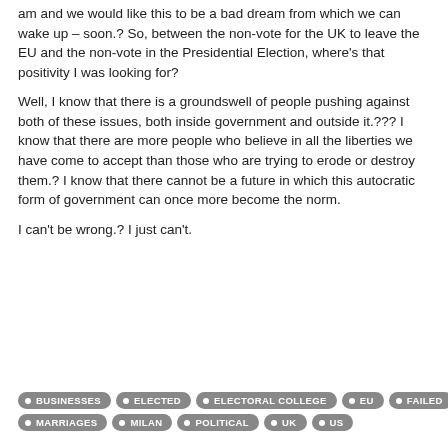am and we would like this to be a bad dream from which we can wake up – soon.? So, between the non-vote for the UK to leave the EU and the non-vote in the Presidential Election, where's that positivity I was looking for?
Well, I know that there is a groundswell of people pushing against both of these issues, both inside government and outside it.??? I know that there are more people who believe in all the liberties we have come to accept than those who are trying to erode or destroy them.? I know that there cannot be a future in which this autocratic form of government can once more become the norm.
I can't be wrong.? I just can't.
BUSINESSES
ELECTED
ELECTORAL COLLEGE
EU
FAILED
MARRIAGES
MILAN
POLITICAL
UK
US